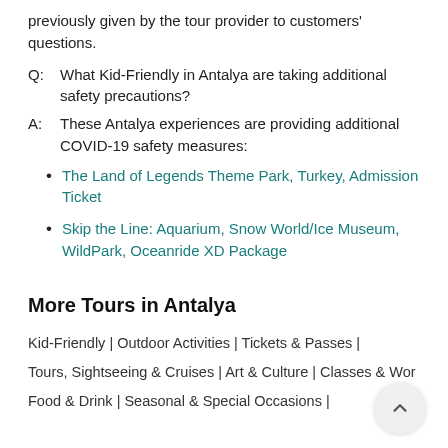previously given by the tour provider to customers' questions.
Q:  What Kid-Friendly in Antalya are taking additional safety precautions?
A:  These Antalya experiences are providing additional COVID-19 safety measures:
The Land of Legends Theme Park, Turkey, Admission Ticket
Skip the Line: Aquarium, Snow World/Ice Museum, WildPark, Oceanride XD Package
More Tours in Antalya
Kid-Friendly | Outdoor Activities | Tickets & Passes | Tours, Sightseeing & Cruises | Art & Culture | Classes & Wor Food & Drink | Seasonal & Special Occasions |